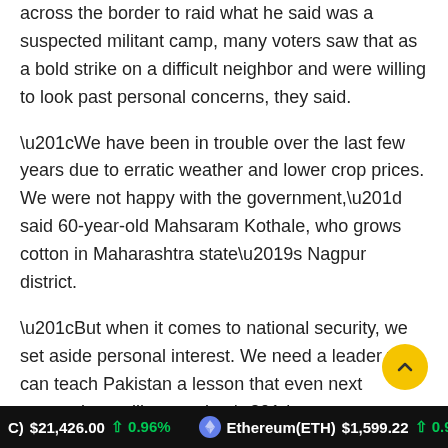across the border to raid what he said was a suspected militant camp, many voters saw that as a bold strike on a difficult neighbor and were willing to look past personal concerns, they said.
“We have been in trouble over the last few years due to erratic weather and lower crop prices. We were not happy with the government,” said 60-year-old Mahsaram Kothale, who grows cotton in Maharashtra state’s Nagpur district.
“But when it comes to national security, we set aside personal interest. We need a leader who can teach Pakistan a lesson that even next generations will remember.”
The BJP and its allies won 44 parliament seats from Maharashtra of the 48 at stake.
(C) $21,426.00 ↑ 0.96%   Ethereum(ETH) $1,599.22 ↑ 0.93%   T